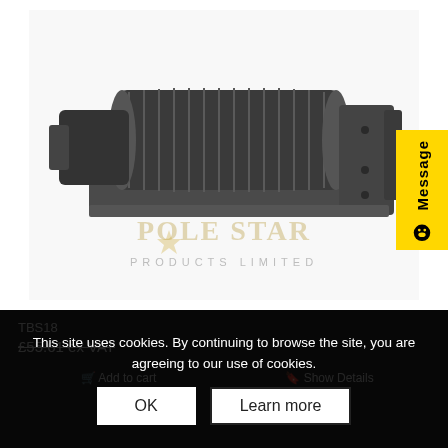[Figure (photo): A tangential/cross-flow blower fan unit (TBS18), dark grey metal construction with cylindrical impeller and motor, shown on white background with Pole Star Products Limited watermark/logo overlay]
Message
TBS18
£55.61 ex VAT
This site uses cookies. By continuing to browse the site, you are agreeing to our use of cookies.
OK
Learn more
Add to cart
Show Details